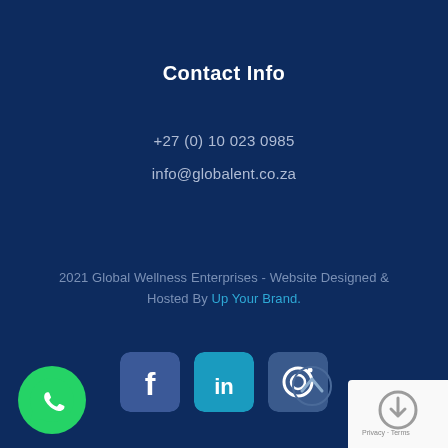Contact Info
+27 (0) 10 023 0985
info@globalent.co.za
2021 Global Wellness Enterprises - Website Designed & Hosted By Up Your Brand.
[Figure (illustration): Social media icons: Facebook (blue rounded square), LinkedIn (teal rounded square), Instagram (slate rounded square)]
[Figure (illustration): WhatsApp icon: green circle with white phone handset in speech bubble, bottom left corner]
[Figure (illustration): Scroll-to-top caret icon, bottom right area]
[Figure (illustration): reCAPTCHA logo widget, bottom right corner, with text Privacy - Terms]